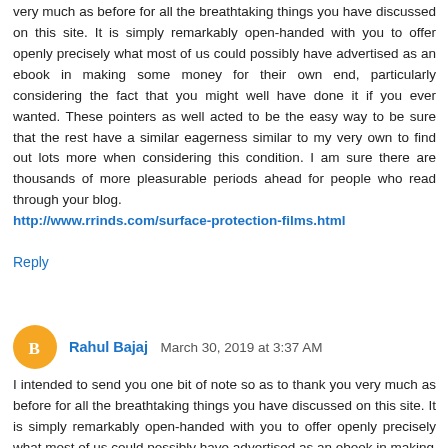very much as before for all the breathtaking things you have discussed on this site. It is simply remarkably open-handed with you to offer openly precisely what most of us could possibly have advertised as an ebook in making some money for their own end, particularly considering the fact that you might well have done it if you ever wanted. These pointers as well acted to be the easy way to be sure that the rest have a similar eagerness similar to my very own to find out lots more when considering this condition. I am sure there are thousands of more pleasurable periods ahead for people who read through your blog. http://www.rrinds.com/surface-protection-films.html
Reply
Rahul Bajaj  March 30, 2019 at 3:37 AM
I intended to send you one bit of note so as to thank you very much as before for all the breathtaking things you have discussed on this site. It is simply remarkably open-handed with you to offer openly precisely what most of us could possibly have advertised as an ebook in making